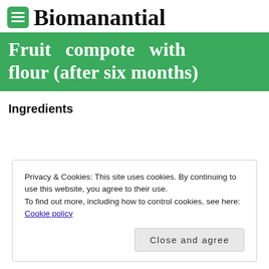Biomanantial
Fruit compote with flour (after six months)
Ingredients
Privacy & Cookies: This site uses cookies. By continuing to use this website, you agree to their use.
To find out more, including how to control cookies, see here: Cookie policy